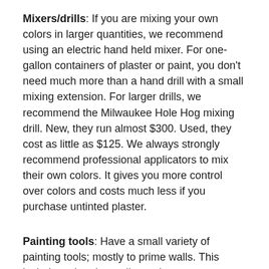Mixers/drills: If you are mixing your own colors in larger quantities, we recommend using an electric hand held mixer. For one-gallon containers of plaster or paint, you don't need much more than a hand drill with a small mixing extension. For larger drills, we recommend the Milwaukee Hole Hog mixing drill. New, they run almost $300. Used, they cost as little as $125. We always strongly recommend professional applicators to mix their own colors. It gives you more control over colors and costs much less if you purchase untinted plaster.
Painting tools: Have a small variety of painting tools; mostly to prime walls. This includes a brush, a roller and a pan.
Razor knives: To cut paper, tape, make a neat masking job, etc.